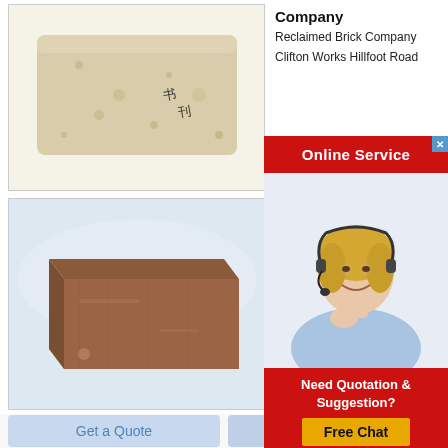[Figure (photo): Pale yellow/cream colored reclaimed brick with handwritten Chinese characters on the side, on white background]
Company
Reclaimed Brick Company
Clifton Works Hillfoot Road
[Figure (infographic): Red Online Service banner with a close X button in blue, overlaid with a photo of a smiling blonde female customer service agent wearing a headset, followed by a red 'Need Quotation & Suggestion?' box with a yellow 'Free Chat' button]
Hist
On D
destr
[Figure (photo): Brown reclaimed brick lying on its long side on a white/light blue surface]
Get a Quote
Chat Now